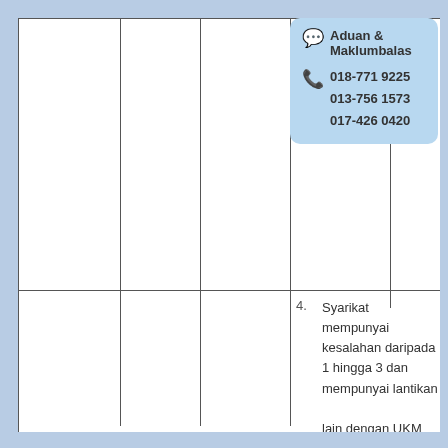[Figure (infographic): Aduan & Maklumbalas contact info box with chat bubble icon and phone icon listing numbers 018-771 9225, 013-756 1573, 017-426 0420]
| 4. | Syarikat mempunyai kesalahan daripada 1 hingga 3 dan mempunyai lantikan

lain dengan UKM |